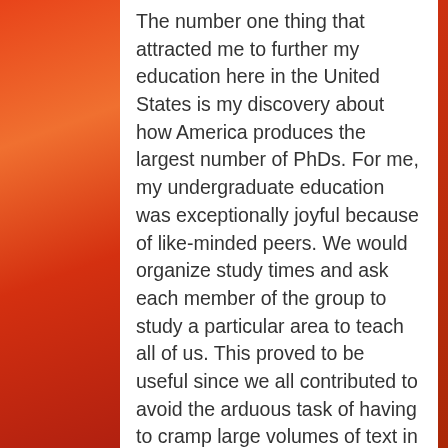The number one thing that attracted me to further my education here in the United States is my discovery about how America produces the largest number of PhDs. For me, my undergraduate education was exceptionally joyful because of like-minded peers. We would organize study times and ask each member of the group to study a particular area to teach all of us. This proved to be useful since we all contributed to avoid the arduous task of having to cramp large volumes of text in our heads. Reading that America produces the largest number of PhDs for me meant that, the doctoral journey is not going to be as lonely as I have imagined PhDs to be with students learning only from their academic supervisors. With more people in a program, there is higher probability of collaboration among students and not an entirely